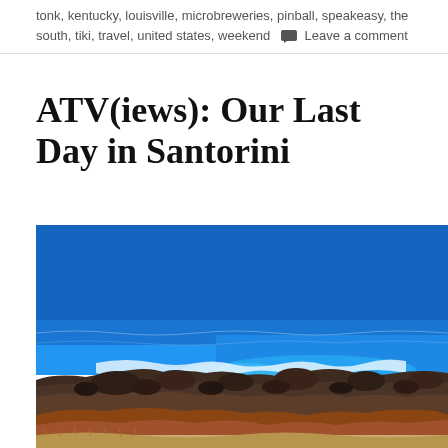tonk, kentucky, louisville, microbreweries, pinball, speakeasy, the south, tiki, travel, united states, weekend   Leave a comment
ATV(iews): Our Last Day in Santorini
[Figure (photo): Aerial view of rocky volcanic coastline of Santorini with dark lava rocks meeting deep blue Mediterranean sea, waves crashing on the rocks, reddish-brown rocky foreground cliff with dry grass]